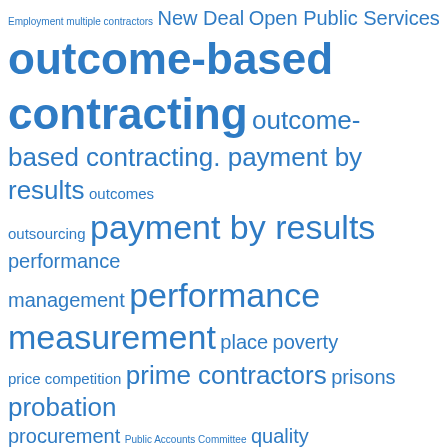[Figure (other): Tag cloud showing various government/public services policy terms in different sizes, all in blue. Larger terms include 'outcome-based contracting', 'payment by results', 'performance measurement', 'quality versus price', 'recidivism', 'transparency', 'unemployment', 'value for'. Medium terms include 'New Deal', 'Open Public Services', 'prime contractors', 'probation', 'risk', 'rehabilitation revolution'. Smaller terms include 'Employment multiple contractors', 'outcome-based contracting. payment by results', 'outcomes', 'outsourcing', 'performance management', 'place', 'poverty', 'price competition', 'prisons', 'procurement', 'Public Accounts Committee', 'quality', 'Regulator', 'reliability', 'reoffending', 'Serco', 'social cohesion', 'social exclusion', 'US', 'validity'.]